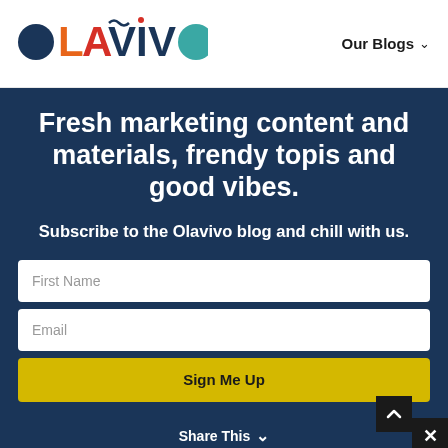[Figure (logo): Olavivo colorful logo with dark navy circle O, orange L, red A, teal V with tilde, dark navy I with accent, and teal circle O]
Our Blogs ∨
Fresh marketing content and materials, frendy topis and good vibes.
Subscribe to the Olavivo blog and chill with us.
First Name
Email
Sign Me Up
Share This ∨